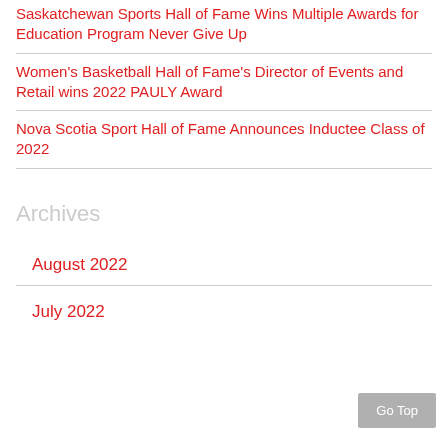Saskatchewan Sports Hall of Fame Wins Multiple Awards for Education Program Never Give Up
Women's Basketball Hall of Fame's Director of Events and Retail wins 2022 PAULY Award
Nova Scotia Sport Hall of Fame Announces Inductee Class of 2022
Archives
August 2022
July 2022